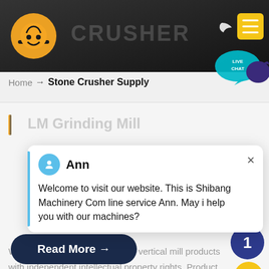[Figure (screenshot): Website header with dark background showing stone crusher machinery, orange logo, moon icon, and yellow menu button]
[Figure (illustration): Live Chat speech bubble icon in teal/dark blue colors]
Home → Stone Crusher Supply
LM Grinding Mill
[Figure (screenshot): Live chat popup with Ann avatar, close button, and welcome message]
We have successively launched vertical mill products with independent intellectual property rights. Product Features: Integration of multiple functions, more stable and reliable production and more excellent capacity